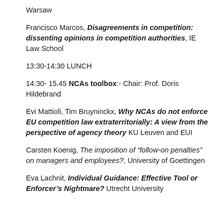Warsaw
Francisco Marcos, Disagreements in competition: dissenting opinions in competition authorities, IE Law School
13:30-14:30 LUNCH
14:30- 15.45 NCAs toolbox:- Chair: Prof. Doris Hildebrand
Evi Mattioli, Tim Bruyninckx, Why NCAs do not enforce EU competition law extraterritorially: A view from the perspective of agency theory KU Leuven and EUI
Carsten Koenig, The imposition of “follow-on penalties” on managers and employees?, University of Goettingen
Eva Lachnit, Individual Guidance: Effective Tool or Enforcer’s Nightmare? Utrecht University